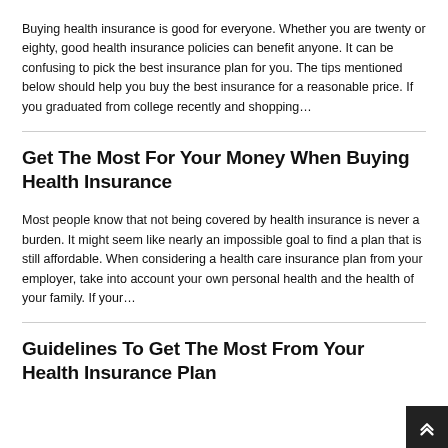Buying health insurance is good for everyone. Whether you are twenty or eighty, good health insurance policies can benefit anyone. It can be confusing to pick the best insurance plan for you. The tips mentioned below should help you buy the best insurance for a reasonable price. If you graduated from college recently and shopping…
Get The Most For Your Money When Buying Health Insurance
Most people know that not being covered by health insurance is never a burden. It might seem like nearly an impossible goal to find a plan that is still affordable. When considering a health care insurance plan from your employer, take into account your own personal health and the health of your family. If your…
Guidelines To Get The Most From Your Health Insurance Plan